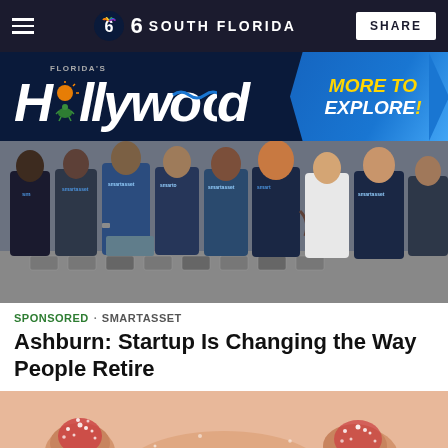NBC 6 SOUTH FLORIDA | SHARE
[Figure (photo): Florida's Hollywood advertisement banner with dark background and blue arrow graphic reading MORE TO EXPLORE]
[Figure (photo): Group photo of SmartAsset team members wearing branded t-shirts standing outdoors on cobblestone]
SPONSORED · SMARTASSET
Ashburn: Startup Is Changing the Way People Retire
[Figure (photo): Close-up photo of fingers holding gummy candy with sugar crystals]